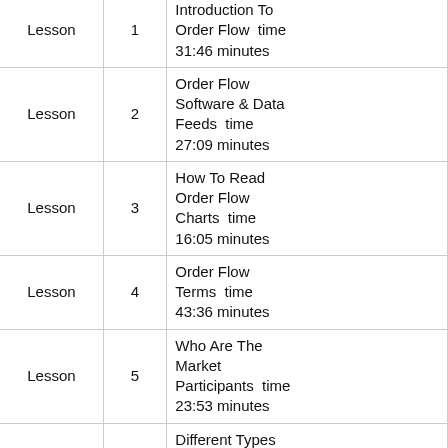|  | Lesson | # | Description |
| --- | --- | --- | --- |
| Lesson | 1 | Introduction To Order Flow  time 31:46 minutes |
| Lesson | 2 | Order Flow Software & Data Feeds  time 27:09 minutes |
| Lesson | 3 | How To Read Order Flow Charts  time 16:05 minutes |
| Lesson | 4 | Order Flow Terms  time 43:36 minutes |
| Lesson | 5 | Who Are The Market Participants  time 23:53 minutes |
| Lesson | 6 | Different Types Of Trading Happening In The Market  time 25:11 minutes |
| Lesson | 7 | Best Markets To ... |